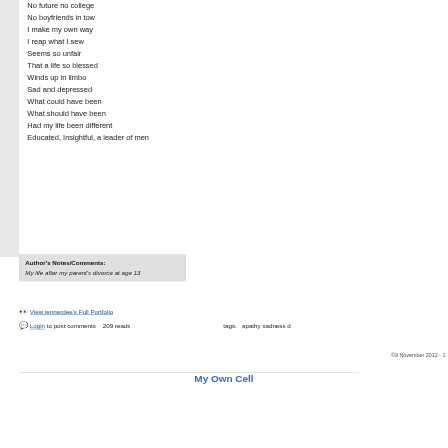No future no college
No boyfriends in tow
I make my own way
I reap what I sew
Seems so unfair
That a life so blessed
Winds up in limbo
Sad and depressed
What could have been
What should have been
Had my life been different
Educated, Insightful, a leader of men
Author's Notes/Comments:
My life after my parent's divorce at age 13
View jennerdee's Full Portfolio
Login to post comments   209 reads   tags:   apathy sadness d
©9 November 2012 - 1:
My Own Cell